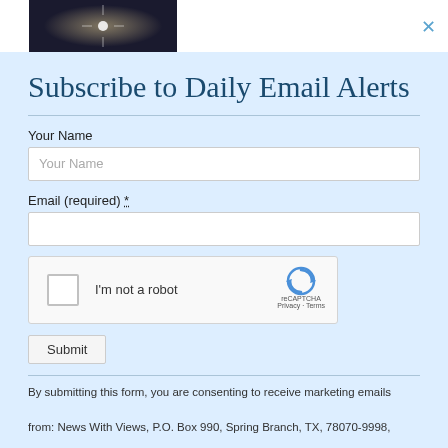[Figure (photo): Dark image thumbnail at top left, appears to be a nighttime or space-themed photo]
Subscribe to Daily Email Alerts
Your Name
Email (required) *
[Figure (other): reCAPTCHA widget with checkbox labeled I'm not a robot, reCAPTCHA logo with Privacy and Terms links]
Submit
By submitting this form, you are consenting to receive marketing emails from: News With Views, P.O. Box 990, Spring Branch, TX, 78070-9998,